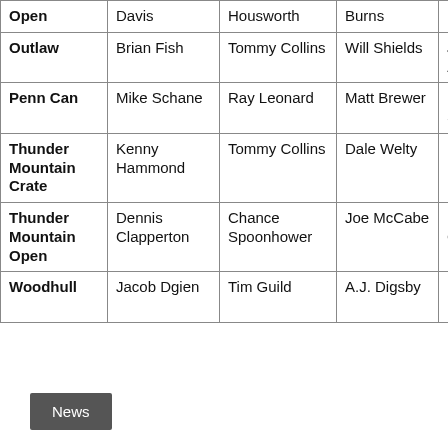|  | 1st | 2nd | 3rd | 4th |
| --- | --- | --- | --- | --- |
| Open | Davis | Housworth | Burns | Brown |
| Outlaw | Brian Fish | Tommy Collins | Will Shields | Jimmy Zachar |
| Penn Can | Mike Schane | Ray Leonard | Matt Brewer | Ryan Stone |
| Thunder Mountain Crate | Kenny Hammond | Tommy Collins | Dale Welty | Hunter Lapp |
| Thunder Mountain Open | Dennis Clapperton | Chance Spoonhower | Joe McCabe | Marc Goodw |
| Woodhull | Jacob Dgien | Tim Guild | A.J. Digsby | Brayde Bills |
News